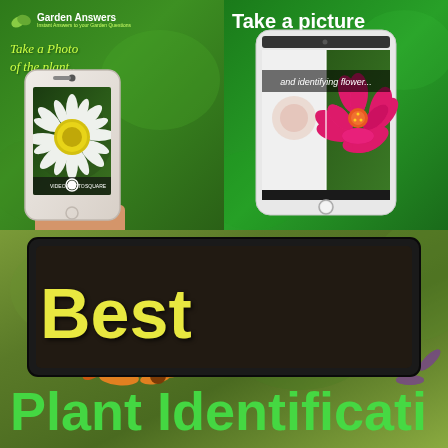[Figure (screenshot): Top-left: Garden Answers app screenshot on green background showing iPhone held in hand taking photo of a white daisy flower. Logo with two green leaves and text 'Garden Answers - Instant Answers to your Garden Questions'. Italic yellow-green text reads 'Take a Photo of the plant..']
[Figure (screenshot): Top-right: App screenshot on green background showing Android phone with camera open identifying a bright pink/magenta zinnia flower. White text at top reads 'Take a picture' and overlay text on phone screen reads 'and identifying flower...']
[Figure (screenshot): Bottom panel: Dark tablet/device frame held over garden scene with bees on orange flowers and purple coneflowers on right. Large bold yellow text reads 'Best' and large bold green text partially visible reads 'Plant Identificati...']